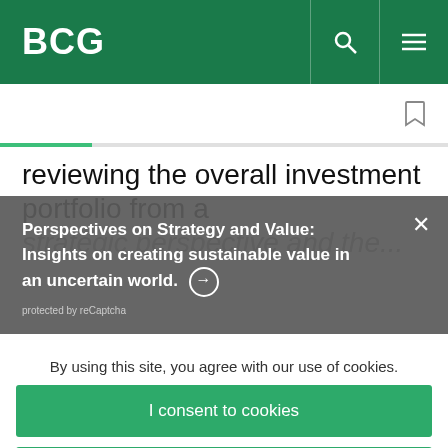BCG
reviewing the overall investment portfolio from a strategic perspective and the...
Perspectives on Strategy and Value: Insights on creating sustainable value in an uncertain world. →
protected by reCaptcha
By using this site, you agree with our use of cookies.
I consent to cookies
Want to know more?
Read our Cookie Policy